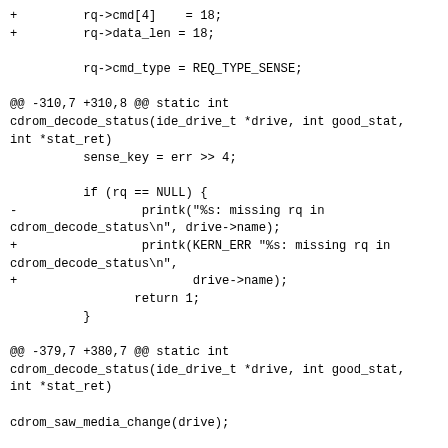+         rq->cmd[4]    = 18;
+         rq->data_len = 18;

          rq->cmd_type = REQ_TYPE_SENSE;

@@ -310,7 +310,8 @@ static int cdrom_decode_status(ide_drive_t *drive, int good_stat, int *stat_ret)
          sense_key = err >> 4;

          if (rq == NULL) {
-                  printk("%s: missing rq in cdrom_decode_status\n", drive->name);
+                  printk(KERN_ERR "%s: missing rq in cdrom_decode_status\n",
+                         drive->name);
                  return 1;
          }

@@ -379,7 +380,7 @@ static int cdrom_decode_status(ide_drive_t *drive, int good_stat, int *stat_ret)

cdrom_saw_media_change(drive);

                                    /* fail the request. */
-                  printk("%s: tray open\n", drive->name);
+                  printk(KERN_ERR "%s: tray open\n", drive->name);